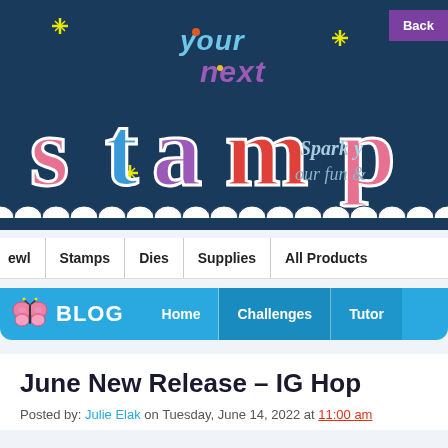[Figure (logo): Your Next Stamp logo on dark blue background with colorful lettering, stars, and tagline 'Spark y... our fun &']
Back
[Figure (screenshot): Navigation bar with items: ewl, Stamps, Dies, Supplies, All Products]
[Figure (screenshot): Blog bar with butterfly icon, BLOG label, and navigation: Home, Challenges, Tutor]
June New Release – IG Hop
Posted by: Julie Elak on Tuesday, June 14, 2022 at 11:00 am